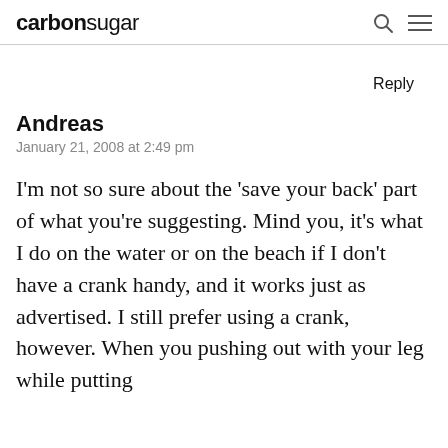carbonsugar
Reply
Andreas
January 21, 2008 at 2:49 pm
I'm not so sure about the 'save your back' part of what you're suggesting. Mind you, it's what I do on the water or on the beach if I don't have a crank handy, and it works just as advertised. I still prefer using a crank, however. When you pushing out with your leg while putting